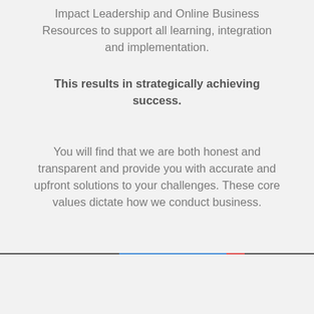Impact Leadership and Online Business Resources to support all learning, integration and implementation.
This results in strategically achieving success.
You will find that we are both honest and transparent and provide you with accurate and upfront solutions to your challenges. These core values dictate how we conduct business.